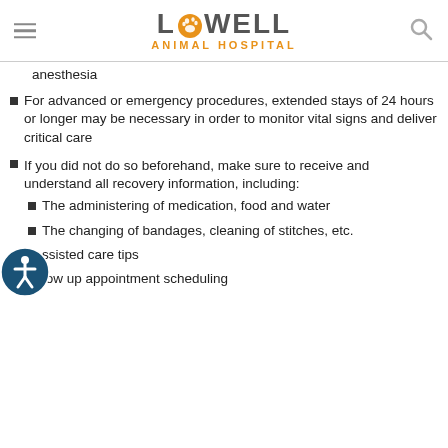Lowell Animal Hospital
anesthesia
For advanced or emergency procedures, extended stays of 24 hours or longer may be necessary in order to monitor vital signs and deliver critical care
If you did not do so beforehand, make sure to receive and understand all recovery information, including:
The administering of medication, food and water
The changing of bandages, cleaning of stitches, etc.
...ssisted care tips
Follow up appointment scheduling